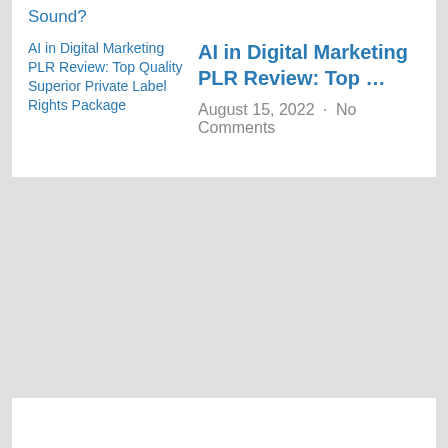Sound?
[Figure (other): Broken image placeholder for AI in Digital Marketing PLR Review: Top Quality Superior Private Label Rights Package]
AI in Digital Marketing PLR Review: Top …
August 15, 2022 · No Comments